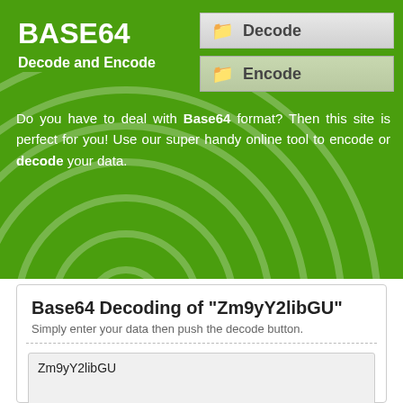BASE64
Decode and Encode
Decode
Encode
Do you have to deal with Base64 format? Then this site is perfect for you! Use our super handy online tool to encode or decode your data.
Base64 Decoding of "Zm9yY2libGU"
Simply enter your data then push the decode button.
Zm9yY2libGU